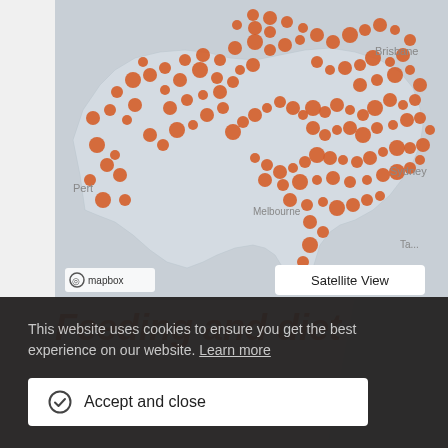[Figure (map): Map of Australia showing orange dot clusters indicating species distribution. City labels visible: Brisbane, Perth, Sydney. Mapbox attribution logo at bottom left. 'Satellite View' toggle button at bottom right.]
Feeding and diet
This website uses cookies to ensure you get the best experience on our website. Learn more
Accept and close